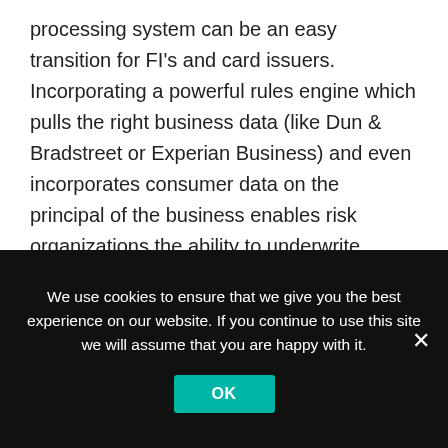processing system can be an easy transition for FI's and card issuers.  Incorporating a powerful rules engine which pulls the right business data (like Dun & Bradstreet or Experian Business) and even incorporates consumer data on the principal of the business enables risk organizations the ability to underwrite businesses in real time while mitigating risk as much as possible.  It also helps the business owner feel that his/her financial needs are understood establishing a good, long term relationship and deeper wallet share for the FI. If additional manual review is required, then the collection of all the necessary data should be in an easy-
We use cookies to ensure that we give you the best experience on our website. If you continue to use this site we will assume that you are happy with it.